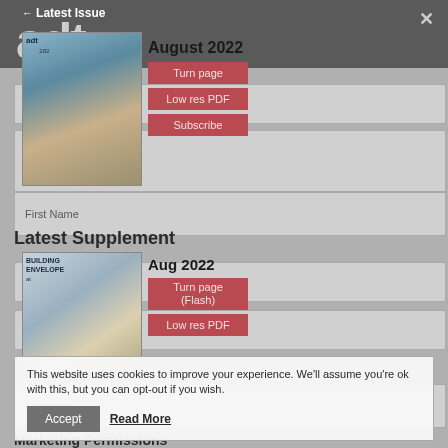Latest Issue
[Figure (screenshot): ADT magazine logo large letters 'adt' overlapping with magazine cover showing a building facade, August 2022 issue]
August 2022
Turn page
Low res PDF
Subscribe
Email
Title
First Name
Latest Supplement
[Figure (screenshot): Building Envelope supplement cover showing a modern building with perforated facade, Aug 2022]
Aug 2022
Turn page (Flash)
Low res PDF
Last name
Job Title
This website uses cookies to improve your experience. We'll assume you're ok with this, but you can opt-out if you wish.
Accept
Read More
Company
Marketing Permissions